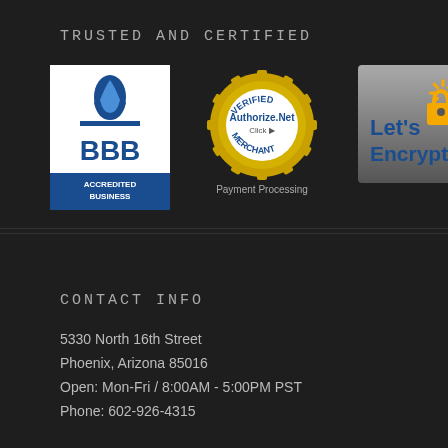TRUSTED AND CERTIFIED
[Figure (logo): BBB Accredited Business logo - blue flame icon above BBB letters with 'ACCREDITED BUSINESS' banner]
[Figure (logo): Authorize.Net Verified Merchant badge - gold gear/seal with 'VERIFIED MERCHANT' text and 'Authorize.Net Click' center, 'Payment Processing' below]
[Figure (logo): Let's Encrypt logo - gray/silver background with blue text 'Let's Encrypt' and orange padlock with sun rays icon]
CONTACT INFO
5330 North 16th Street
Phoenix, Arizona 85016
Open: Mon-Fri / 8:00AM - 5:00PM PST
Phone: 602-926-4315